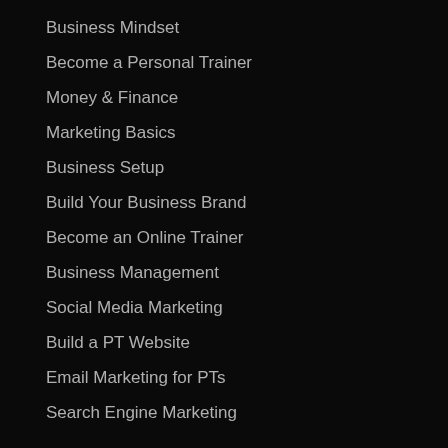Business Mindset
Become a Personal Trainer
Money & Finance
Marketing Basics
Business Setup
Build Your Business Brand
Become an Online Trainer
Business Management
Social Media Marketing
Build a PT Website
Email Marketing for PTs
Search Engine Marketing
Community
Community
Code of Conduct